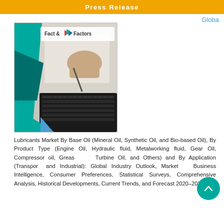Press Release
Globa
[Figure (illustration): Fact & Factors market research report cover image showing a person working at a laptop/desk, with teal geometric shapes and the Fact & Factors logo.]
Lubricants Market By Base Oil (Mineral Oil, Synthetic Oil, and Bio-based Oil), By Product Type (Engine Oil, Hydraulic fluid, Metalworking fluid, Gear Oil, Compressor oil, Grease, Turbine Oil, and Others) and By Application (Transportation and Industrial): Global Industry Outlook, Market Size, Business Intelligence, Consumer Preferences, Statistical Surveys, Comprehensive Analysis, Historical Developments, Current Trends, and Forecast 2020–2026